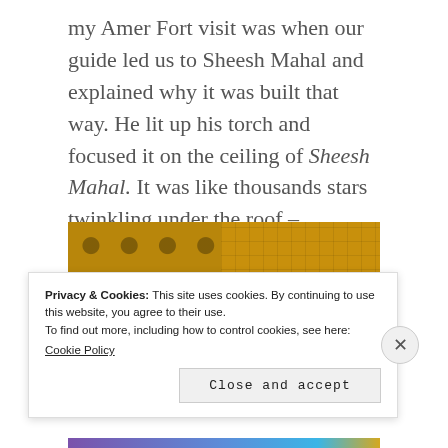my Amer Fort visit was when our guide led us to Sheesh Mahal and explained why it was built that way. He lit up his torch and focused it on the ceiling of Sheesh Mahal. It was like thousands stars twinkling under the roof – AMAZING!
[Figure (photo): Close-up photograph of ornate golden ceiling of Sheesh Mahal showing intricate mirror and tile work in warm golden tones, split into two panels]
Privacy & Cookies: This site uses cookies. By continuing to use this website, you agree to their use.
To find out more, including how to control cookies, see here:
Cookie Policy